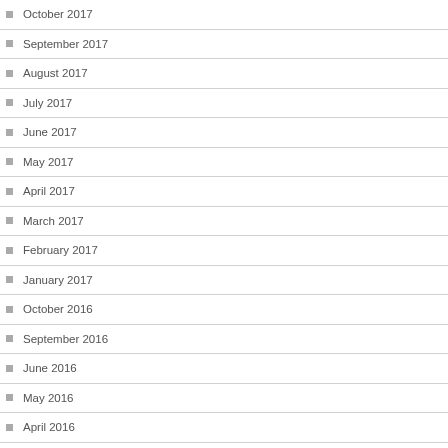October 2017
September 2017
August 2017
July 2017
June 2017
May 2017
April 2017
March 2017
February 2017
January 2017
October 2016
September 2016
June 2016
May 2016
April 2016